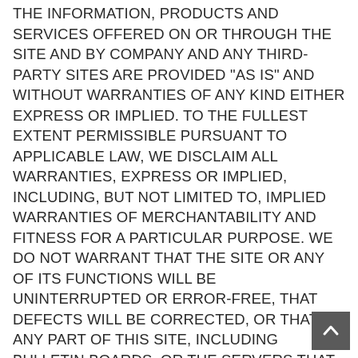THE INFORMATION, PRODUCTS AND SERVICES OFFERED ON OR THROUGH THE SITE AND BY COMPANY AND ANY THIRD-PARTY SITES ARE PROVIDED "AS IS" AND WITHOUT WARRANTIES OF ANY KIND EITHER EXPRESS OR IMPLIED. TO THE FULLEST EXTENT PERMISSIBLE PURSUANT TO APPLICABLE LAW, WE DISCLAIM ALL WARRANTIES, EXPRESS OR IMPLIED, INCLUDING, BUT NOT LIMITED TO, IMPLIED WARRANTIES OF MERCHANTABILITY AND FITNESS FOR A PARTICULAR PURPOSE. WE DO NOT WARRANT THAT THE SITE OR ANY OF ITS FUNCTIONS WILL BE UNINTERRUPTED OR ERROR-FREE, THAT DEFECTS WILL BE CORRECTED, OR THAT ANY PART OF THIS SITE, INCLUDING BULLETIN BOARDS, OR THE SERVERS THAT MAKE IT AVAILABLE, ARE FREE OF VIRUSES